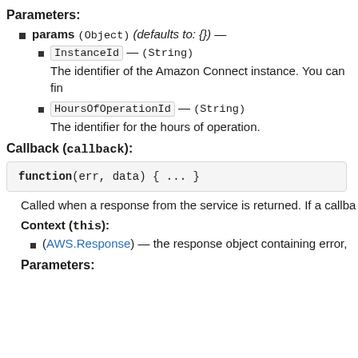Parameters:
params (Object) (defaults to: {}) —
InstanceId — (String)
The identifier of the Amazon Connect instance. You can fin
HoursOfOperationId — (String)
The identifier for the hours of operation.
Callback (callback):
[Figure (screenshot): Code block showing: function(err, data) { ... }]
Called when a response from the service is returned. If a callba
Context (this):
(AWS.Response) — the response object containing error,
Parameters: